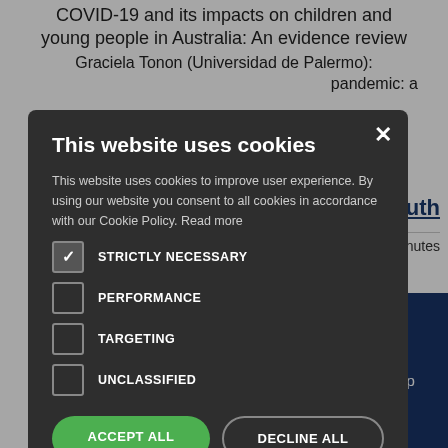COVID-19 and its impacts on children and young people in Australia: An evidence review
Graciela Tonon (Universidad de Palermo): pandemic: a
Youth
88 minutes
[Figure (screenshot): Cookie consent modal dialog with title 'This website uses cookies', body text about cookies policy, checkboxes for STRICTLY NECESSARY (checked), PERFORMANCE, TARGETING, UNCLASSIFIED, and buttons ACCEPT ALL and DECLINE ALL, plus SHOW DETAILS link]
site - ations or CA - pay a nominal membership fee and have full